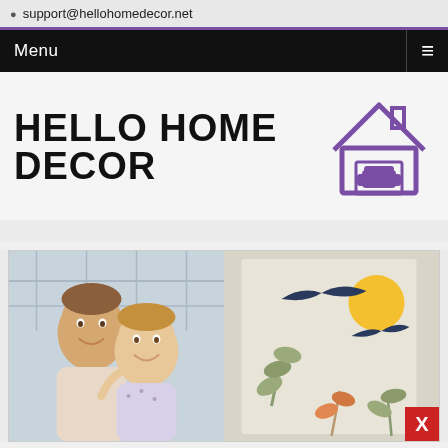support@hellohomedecor.net
Menu
HELLO HOME DECOR
[Figure (logo): Hello Home Decor logo with house icon containing an armchair, in purple]
[Figure (photo): Two children (boy and girl) hugging and smiling, outdoor setting]
[Figure (illustration): Decorative art poster with birds, sun, leaves and botanical elements in sage green, orange and navy on light background]